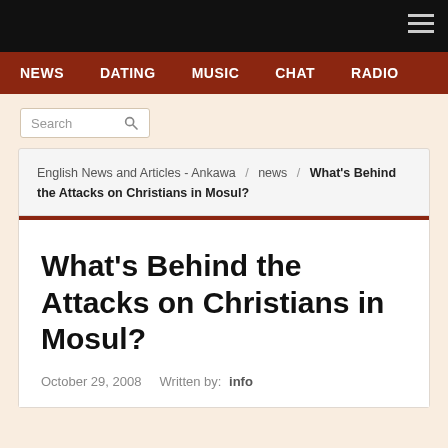Navigation bar with hamburger menu
NEWS  DATING  MUSIC  CHAT  RADIO
Search
English News and Articles - Ankawa / news / What's Behind the Attacks on Christians in Mosul?
What's Behind the Attacks on Christians in Mosul?
October 29, 2008   Written by: info